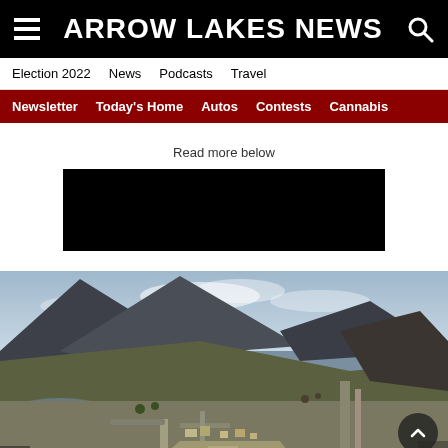ARROW LAKES NEWS
Election 2022
News
Podcasts
Travel
Newsletter
Today's Home
Autos
Contests
Cannabis
Read more below
[Figure (photo): Aerial drone photograph of a river valley with mountains in the background, a town and road infrastructure visible in the foreground, and forested hillsides with some fire-scarred areas.]